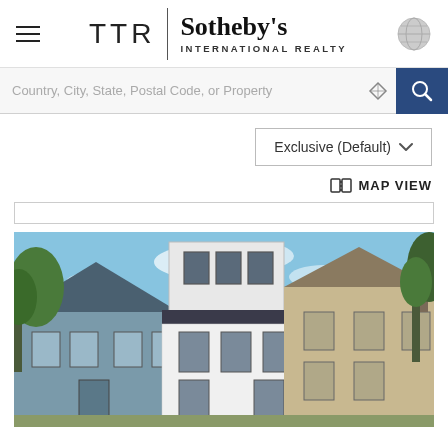[Figure (logo): TTR Sotheby's International Realty logo with hamburger menu and globe icon]
Country, City, State, Postal Code, or Property
Exclusive (Default)
MAP VIEW
[Figure (photo): Architectural rendering of townhouses on a residential street — a modern white brick rowhouse flanked by a blue-gray house on the left and a tan/beige house on the right, with trees and blue sky]